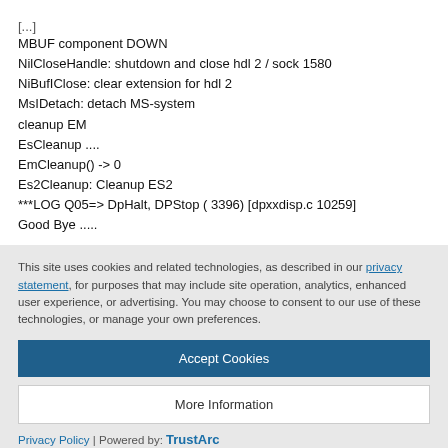[...]
MBUF component DOWN
NilCloseHandle: shutdown and close hdl 2 / sock 1580
NiBufIClose: clear extension for hdl 2
MsIDetach: detach MS-system
cleanup EM
EsCleanup ....
EmCleanup() -> 0
Es2Cleanup: Cleanup ES2
***LOG Q05=> DpHalt, DPStop ( 3396) [dpxxdisp.c 10259]
Good Bye .....
This site uses cookies and related technologies, as described in our privacy statement, for purposes that may include site operation, analytics, enhanced user experience, or advertising. You may choose to consent to our use of these technologies, or manage your own preferences.
Accept Cookies
More Information
Privacy Policy | Powered by: TrustArc
Similar Questions